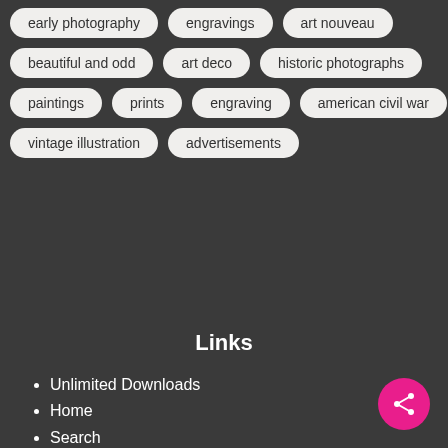early photography
engravings
art nouveau
beautiful and odd
art deco
historic photographs
paintings
prints
engraving
american civil war
vintage illustration
advertisements
Links
Unlimited Downloads
Home
Search
Collections
Media
Topics
About
Privacy
Terms of Service
Copyright Clearance
Plans
Sitemap